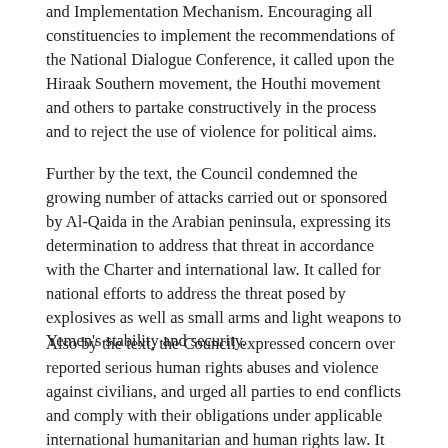and Implementation Mechanism. Encouraging all constituencies to implement the recommendations of the National Dialogue Conference, it called upon the Hiraak Southern movement, the Houthi movement and others to partake constructively in the process and to reject the use of violence for political aims.
Further by the text, the Council condemned the growing number of attacks carried out or sponsored by Al-Qaida in the Arabian peninsula, expressing its determination to address that threat in accordance with the Charter and international law. It called for national efforts to address the threat posed by explosives as well as small arms and light weapons to Yemen's stability and security.
Also by the text, the Council expressed concern over reported serious human rights abuses and violence against civilians, and urged all parties to end conflicts and comply with their obligations under applicable international humanitarian and human rights law. It also expressed concern over the continuing recruitment of children by armed groups and Yemeni Government forces, calling for continued national efforts to end and prevent their recruitment and use. The Council also expressed concern over the use of media to incite violence and frustrate the